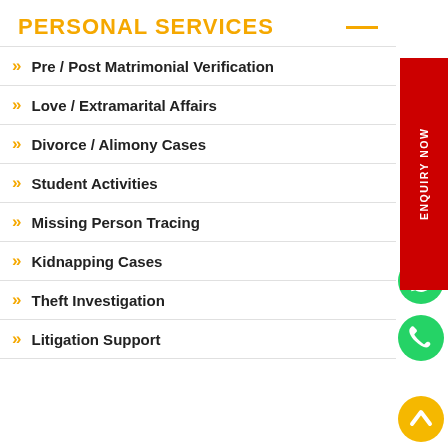PERSONAL SERVICES
Pre / Post Matrimonial Verification
Love / Extramarital Affairs
Divorce / Alimony Cases
Student Activities
Missing Person Tracing
Kidnapping Cases
Theft Investigation
Litigation Support